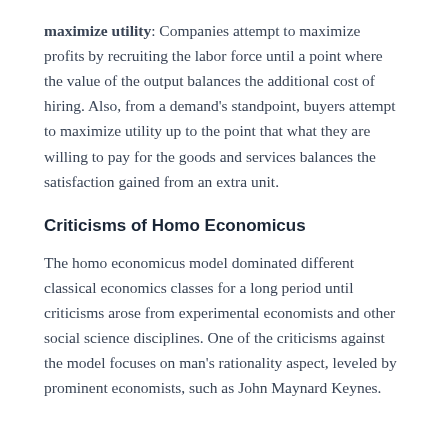maximize utility: Companies attempt to maximize profits by recruiting the labor force until a point where the value of the output balances the additional cost of hiring. Also, from a demand's standpoint, buyers attempt to maximize utility up to the point that what they are willing to pay for the goods and services balances the satisfaction gained from an extra unit.
Criticisms of Homo Economicus
The homo economicus model dominated different classical economics classes for a long period until criticisms arose from experimental economists and other social science disciplines. One of the criticisms against the model focuses on man's rationality aspect, leveled by prominent economists, such as John Maynard Keynes.